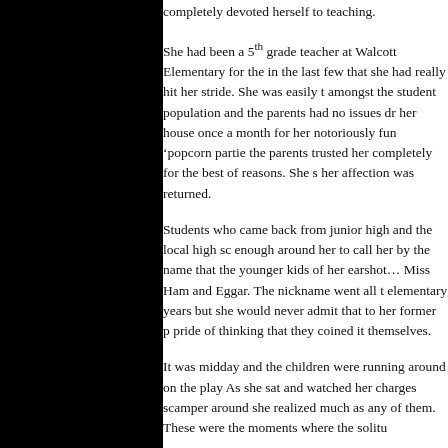completely devoted herself to teaching.
She had been a 5th grade teacher at Walcott Elementary for the in the last few that she had really hit her stride. She was easily t amongst the student population and the parents had no issues dr her house once a month for her notoriously fun 'popcorn partie the parents trusted her completely for the best of reasons. She s her affection was returned.
Students who came back from junior high and the local high sc enough around her to call her by the name that the younger kids of her earshot… Miss Ham and Eggar. The nickname went all t elementary years but she would never admit that to her former p pride of thinking that they coined it themselves.
It was midday and the children were running around on the play As she sat and watched her charges scamper around she realize much as any of them. These were the moments where the solitu
She never understood why she never found Mr. Right. She was and she had both wit and a nurturing nature. Many nights as she the ceiling she wondered if that was perhaps exactly why she sh